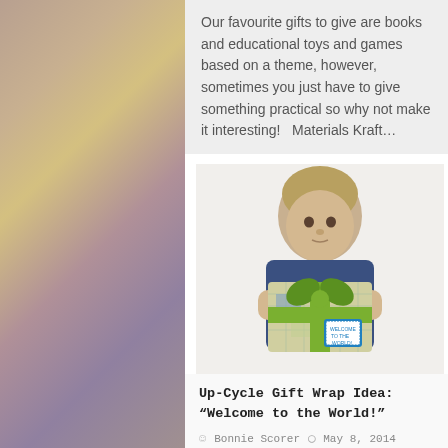Our favourite gifts to give are books and educational toys and games based on a theme, however, sometimes you just have to give something practical so why not make it interesting!   Materials Kraft...
[Figure (photo): Young child holding a wrapped gift box covered in map paper with a green ribbon and a 'Welcome to the World!' tag]
Up-Cycle Gift Wrap Idea: "Welcome to the World!"
Bonnie Scorer   May 8, 2014
Activities, Gift Wrap Idea
We love to use baskets for baby gifts (so